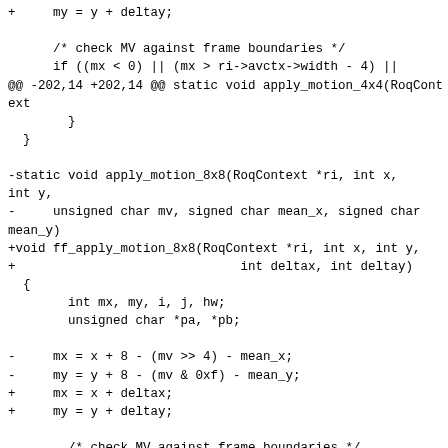Code diff showing changes to apply_motion functions in a video decoder (ROQ format). Shows modifications from using motion vector/mean parameters to using deltax/deltay parameters.